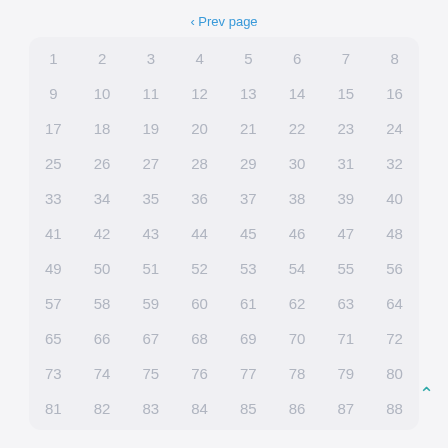< Prev page
| 1 | 2 | 3 | 4 | 5 | 6 | 7 | 8 |
| 9 | 10 | 11 | 12 | 13 | 14 | 15 | 16 |
| 17 | 18 | 19 | 20 | 21 | 22 | 23 | 24 |
| 25 | 26 | 27 | 28 | 29 | 30 | 31 | 32 |
| 33 | 34 | 35 | 36 | 37 | 38 | 39 | 40 |
| 41 | 42 | 43 | 44 | 45 | 46 | 47 | 48 |
| 49 | 50 | 51 | 52 | 53 | 54 | 55 | 56 |
| 57 | 58 | 59 | 60 | 61 | 62 | 63 | 64 |
| 65 | 66 | 67 | 68 | 69 | 70 | 71 | 72 |
| 73 | 74 | 75 | 76 | 77 | 78 | 79 | 80 |
| 81 | 82 | 83 | 84 | 85 | 86 | 87 | 88 |